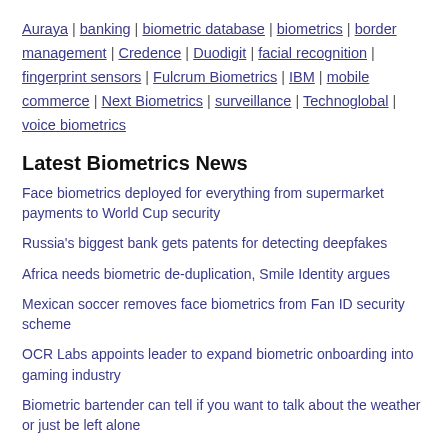Auraya | banking | biometric database | biometrics | border management | Credence | Duodigit | facial recognition | fingerprint sensors | Fulcrum Biometrics | IBM | mobile commerce | Next Biometrics | surveillance | Technoglobal | voice biometrics
Latest Biometrics News
Face biometrics deployed for everything from supermarket payments to World Cup security
Russia's biggest bank gets patents for detecting deepfakes
Africa needs biometric de-duplication, Smile Identity argues
Mexican soccer removes face biometrics from Fan ID security scheme
OCR Labs appoints leader to expand biometric onboarding into gaming industry
Biometric bartender can tell if you want to talk about the weather or just be left alone
Comments